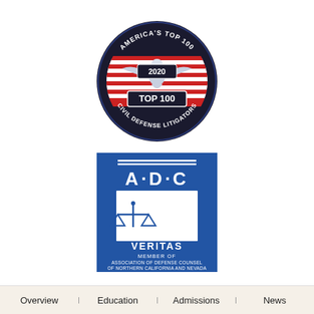[Figure (logo): America's Top 100 Civil Defense Litigators badge, 2020, circular dark blue badge with eagle and red/white stripes, text reads AMERICA'S TOP 100, 2020, TOP 100, CIVIL DEFENSE LITIGATORS]
[Figure (logo): ADC Veritas badge - Association of Defense Counsel of Northern California and Nevada. Blue square badge with A·D·C text, scales of justice icon, VERITAS, MEMBER OF, ASSOCIATION OF DEFENSE COUNSEL OF NORTHERN CALIFORNIA AND NEVADA]
Overview | Education | Admissions | News |